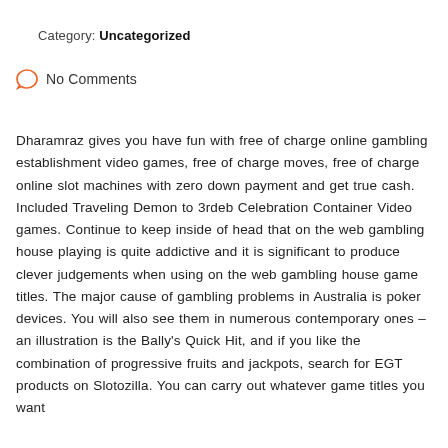Posted by: admin
Category: Uncategorized
No Comments
Dharamraz gives you have fun with free of charge online gambling establishment video games, free of charge moves, free of charge online slot machines with zero down payment and get true cash. Included Traveling Demon to 3rdeb Celebration Container Video games. Continue to keep inside of head that on the web gambling house playing is quite addictive and it is significant to produce clever judgements when using on the web gambling house game titles. The major cause of gambling problems in Australia is poker devices. You will also see them in numerous contemporary ones – an illustration is the Bally's Quick Hit, and if you like the combination of progressive fruits and jackpots, search for EGT products on Slotozilla. You can carry out whatever game titles you want